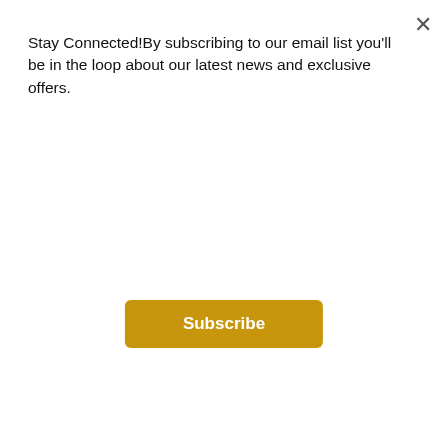Stay Connected!By subscribing to our email list you'll be in the loop about our latest news and exclusive offers.
Subscribe
surprise that our Sawyer Orbit Chaise is the ultimate in lounge chair perfection. Comfortable for one but designed for more, this unique upholstered circle is delightfully unexpected. The chaise features a slightly arched back, three large pillows, and a single, thick seat cushion all covered in a velvety plush fabric. A superb choice for casual lounging in the living room, bedroom or alcove, the Sawyer just begs for your company. Indeed, there's really no other chaise with quite the same combination of shapely glamour and comfort.